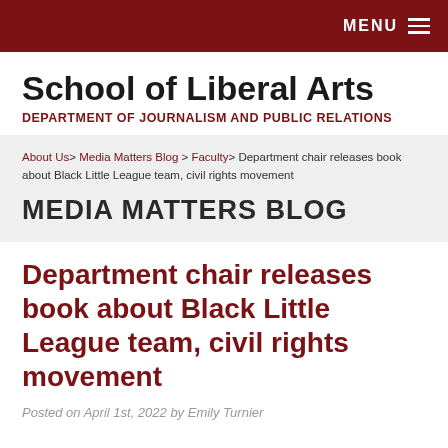MENU
School of Liberal Arts
DEPARTMENT OF JOURNALISM AND PUBLIC RELATIONS
About Us > Media Matters Blog > Faculty > Department chair releases book about Black Little League team, civil rights movement
MEDIA MATTERS BLOG
Department chair releases book about Black Little League team, civil rights movement
Posted on April 1st, 2022 by Emily Turnier